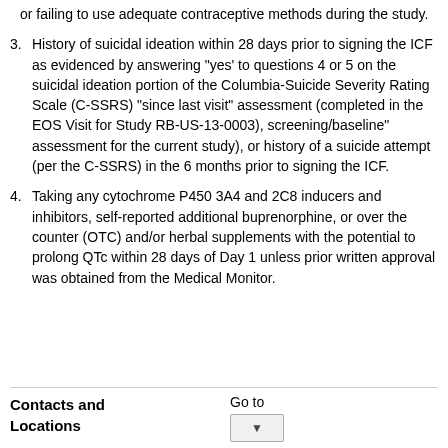or failing to use adequate contraceptive methods during the study.
3. History of suicidal ideation within 28 days prior to signing the ICF as evidenced by answering "yes' to questions 4 or 5 on the suicidal ideation portion of the Columbia-Suicide Severity Rating Scale (C-SSRS) "since last visit" assessment (completed in the EOS Visit for Study RB-US-13-0003), screening/baseline" assessment for the current study), or history of a suicide attempt (per the C-SSRS) in the 6 months prior to signing the ICF.
4. Taking any cytochrome P450 3A4 and 2C8 inducers and inhibitors, self-reported additional buprenorphine, or over the counter (OTC) and/or herbal supplements with the potential to prolong QTc within 28 days of Day 1 unless prior written approval was obtained from the Medical Monitor.
Contacts and Locations
Go to